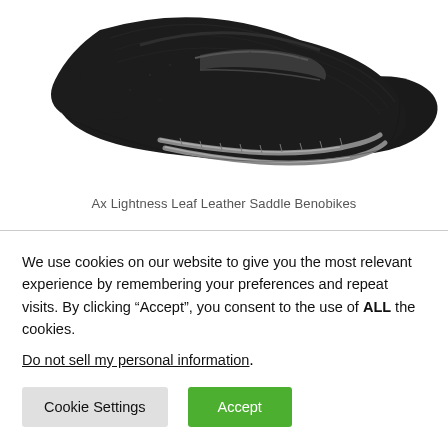[Figure (photo): Close-up photograph of a black leather bicycle saddle (Ax Lightness Leaf Leather Saddle) with carbon rails, shown from above at an angle against a white background.]
Ax Lightness Leaf Leather Saddle Benobikes
We use cookies on our website to give you the most relevant experience by remembering your preferences and repeat visits. By clicking “Accept”, you consent to the use of ALL the cookies.
Do not sell my personal information.